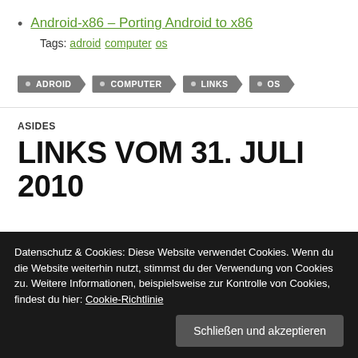Android-x86 – Porting Android to x86
Tags: adroid computer os
ADROID  COMPUTER  LINKS  OS
ASIDES
LINKS VOM 31. JULI 2010
Datenschutz & Cookies: Diese Website verwendet Cookies. Wenn du die Website weiterhin nutzt, stimmst du der Verwendung von Cookies zu. Weitere Informationen, beispielsweise zur Kontrolle von Cookies, findest du hier: Cookie-Richtlinie
Schließen und akzeptieren